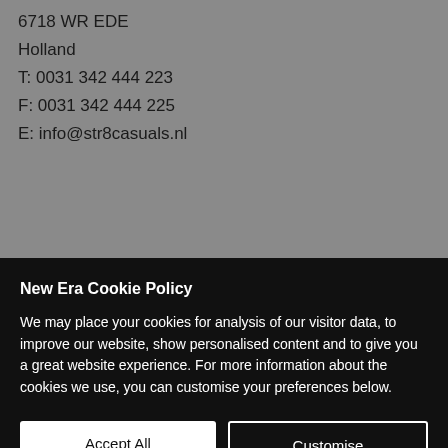6718 WR EDE
Holland
T: 0031 342 444 223
F: 0031 342 444 225
E: info@str8casuals.nl
New Era Cookie Policy
We may place your cookies for analysis of our visitor data, to improve our website, show personalised content and to give you a great website experience. For more information about the cookies we use, you can customise your preferences below.
Accept All
Customise
T: +36 30 465 3425
E: patrick@capland.hu
ISRAEL